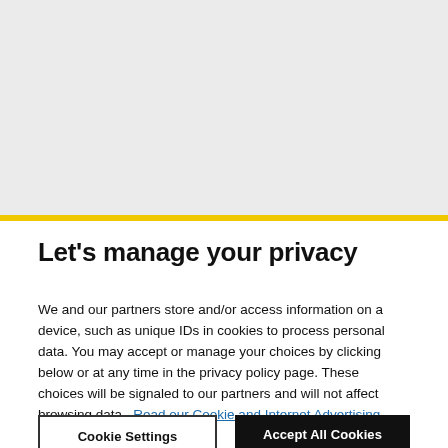[Figure (other): Gray background area representing webpage content above the cookie consent banner]
Let's manage your privacy
We and our partners store and/or access information on a device, such as unique IDs in cookies to process personal data. You may accept or manage your choices by clicking below or at any time in the privacy policy page. These choices will be signaled to our partners and will not affect browsing data.  Read our Cookie and Internet Advertising Policy